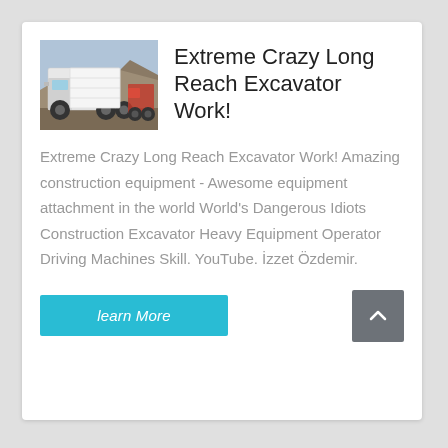[Figure (photo): Rear view of a heavy truck/tractor in a quarry or construction site setting, with rocky terrain in the background.]
Extreme Crazy Long Reach Excavator Work!
Extreme Crazy Long Reach Excavator Work! Amazing construction equipment - Awesome equipment attachment in the world World's Dangerous Idiots Construction Excavator Heavy Equipment Operator Driving Machines Skill. YouTube. İzzet Özdemir.
learn More